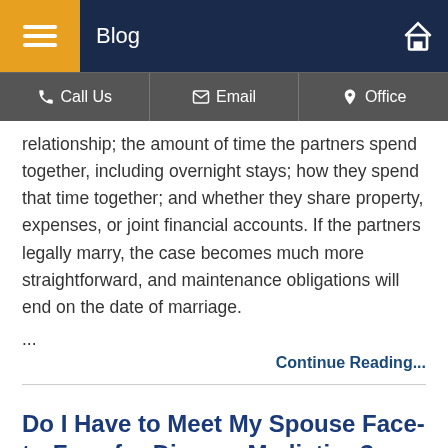Blog
relationship; the amount of time the partners spend together, including overnight stays; how they spend that time together; and whether they share property, expenses, or joint financial accounts. If the partners legally marry, the case becomes much more straightforward, and maintenance obligations will end on the date of marriage.
...
Continue Reading...
Do I Have to Meet My Spouse Face-to-Face for Divorce Mediation?
Posted on May 20, 2021 in Divorce